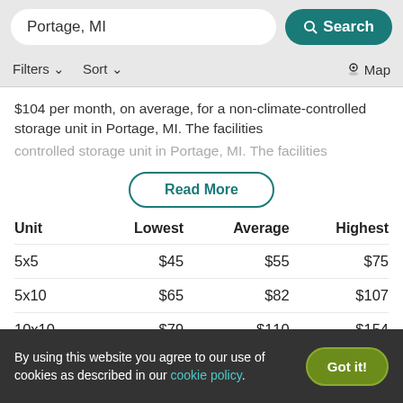Portage, MI  Search
Filters  Sort  Map
$104 per month, on average, for a non-climate-controlled storage unit in Portage, MI. The facilities
Read More
| Unit | Lowest | Average | Highest |
| --- | --- | --- | --- |
| 5x5 | $45 | $55 | $75 |
| 5x10 | $65 | $82 | $107 |
| 10x10 | $79 | $110 | $154 |
| 10x15 | $103 | $143 | $229 |
By using this website you agree to our use of cookies as described in our cookie policy.  Got it!